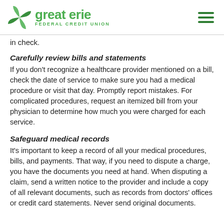Great Erie Federal Credit Union
in check.
Carefully review bills and statements
If you don't recognize a healthcare provider mentioned on a bill, check the date of service to make sure you had a medical procedure or visit that day. Promptly report mistakes. For complicated procedures, request an itemized bill from your physician to determine how much you were charged for each service.
Safeguard medical records
It's important to keep a record of all your medical procedures, bills, and payments. That way, if you need to dispute a charge, you have the documents you need at hand. When disputing a claim, send a written notice to the provider and include a copy of all relevant documents, such as records from doctors' offices or credit card statements. Never send original documents.